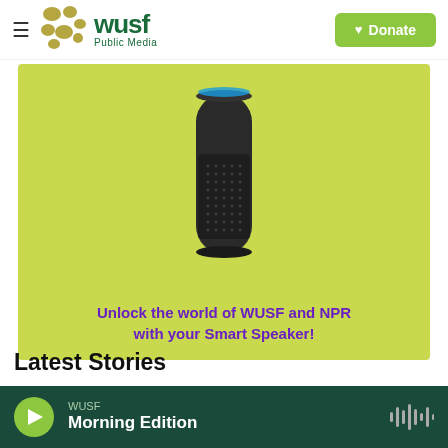WUSF Public Media — Donate
[Figure (illustration): WUSF Public Media website screenshot showing a smart speaker (Amazon Echo) on a green background with text 'Unlock the world of WUSF and NPR with your Smart Speaker!']
Latest Stories
WUSF — Morning Edition (audio player bar)